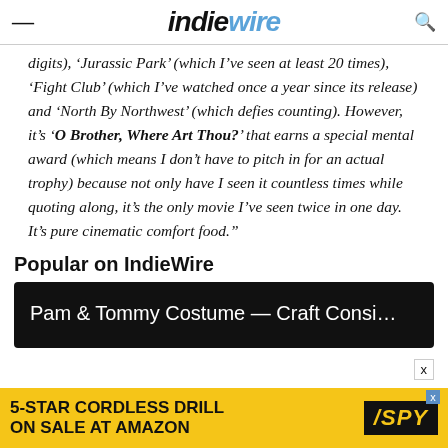IndieWire
digits), ‘Jurassic Park’ (which I’ve seen at least 20 times), ‘Fight Club’ (which I’ve watched once a year since its release) and ‘North By Northwest’ (which defies counting). However, it’s ‘O Brother, Where Art Thou?’ that earns a special mental award (which means I don’t have to pitch in for an actual trophy) because not only have I seen it countless times while quoting along, it’s the only movie I’ve seen twice in one day. It’s pure cinematic comfort food.”
Popular on IndieWire
[Figure (other): Dark card with text: Pam & Tommy Costume — Craft Consi...]
[Figure (other): Advertisement banner: 5-STAR CORDLESS DRILL ON SALE AT AMAZON with SPY logo on yellow background]